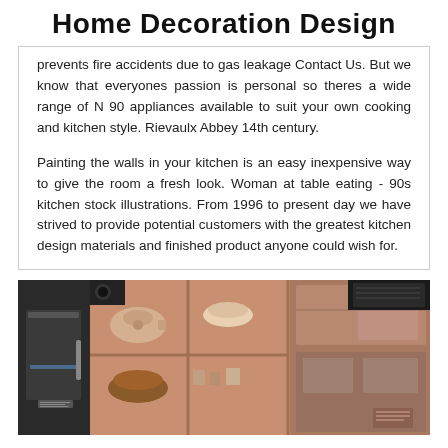Home Decoration Design
prevents fire accidents due to gas leakage Contact Us. But we know that everyones passion is personal so theres a wide range of N 90 appliances available to suit your own cooking and kitchen style. Rievaulx Abbey 14th century.
Painting the walls in your kitchen is an easy inexpensive way to give the room a fresh look. Woman at table eating - 90s kitchen stock illustrations. From 1996 to present day we have strived to provide potential customers with the greatest kitchen design materials and finished product anyone could wish for.
[Figure (photo): Interior photo of a kitchen showing open cabinets with dishes and cookware, a refrigerator on the left side, pink/warm-toned walls and cabinets, shelving units with bowls and items visible.]